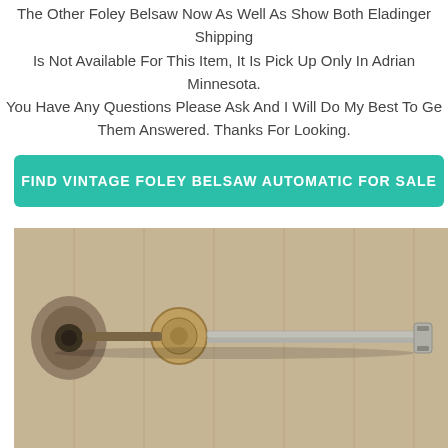The Other Foley Belsaw Now As Well As Show Both Eladinger Shipping Is Not Available For This Item, It Is Pick Up Only In Adrian Minnesota. You Have Any Questions Please Ask And I Will Do My Best To Get Them Answered. Thanks For Looking.
[Figure (other): Teal/green rounded rectangle button with white bold uppercase text: FIND VINTAGE FOLEY BELSAW AUTOMATIC FOR SALE]
[Figure (photo): A photo of a vintage Foley Belsaw tool part — a metal arm/gauge assembly with a round knob and a flat blade, resting against a wood-paneled background.]